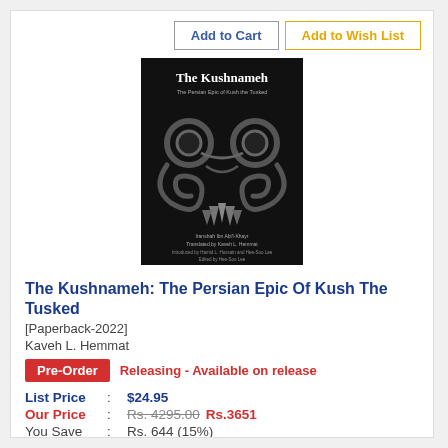[Figure (illustration): Book cover of 'The Kushnameh: The Persian Epic of Kush the Tusked' — black background with decorative Persian/mythological creature artwork in dark gray tones, white title text at top, author and editor credits at bottom.]
The Kushnameh: The Persian Epic Of Kush The Tusked
[Paperback-2022]
Kaveh L. Hemmat
Pre-Order   Releasing - Available on release
List Price :  $24.95
Our Price :  Rs. 4295.00  Rs.3651
You Save :  Rs. 644 (15%)
Category: Literature Poetry Poetry-Poe
Publisher: University Of California Press | ISBN: 9780520385306 | Pages: